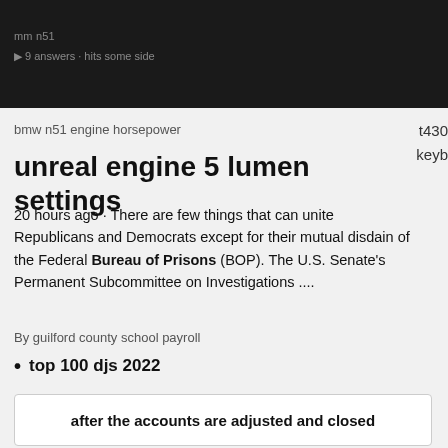bmw n51 engine horsepower
unreal engine 5 lumen settings
20 hours ago · There are few things that can unite Republicans and Democrats except for their mutual disdain of the Federal Bureau of Prisons (BOP). The U.S. Senate's Permanent Subcommittee on Investigations ....
By guilford county school payroll
top 100 djs 2022
after the accounts are adjusted and closed
garland county detention center mail
auburn hills library catalog
stoneworks discord